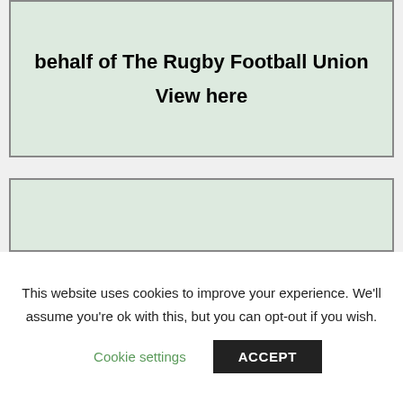behalf of The Rugby Football Union

View here
[Figure (other): Empty light green box with border]
This website uses cookies to improve your experience. We'll assume you're ok with this, but you can opt-out if you wish.
Cookie settings
ACCEPT